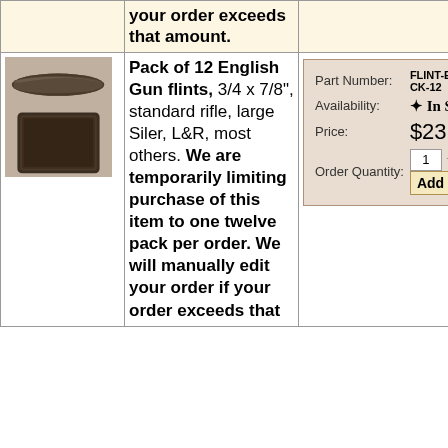your order exceeds that amount.
[Figure (photo): Two gun flints shown — one thin blade-shaped flint on top and one packaged rectangular flint below, both dark grey/black in color.]
Pack of 12 English Gun flints, 3/4 x 7/8", standard rifle, large Siler, L&R, most others. We are temporarily limiting purchase of this item to one twelve pack per order. We will manually edit your order if your order exceeds that
| Part Number: | FLINT-ENG-6-PACK-12 | Availability: | In Stock | Price: | $23.00 | Order Quantity: | 1 | Add To Car |
| --- | --- | --- | --- | --- | --- | --- | --- | --- |